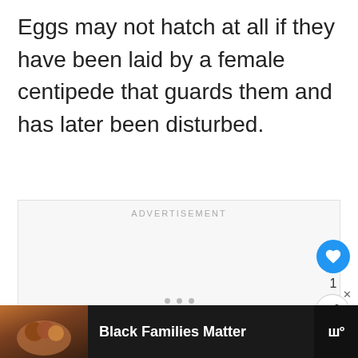Eggs may not hatch at all if they have been laid by a female centipede that guards them and has later been disturbed.
[Figure (screenshot): Advertisement placeholder box with 'ADVERTISEMENT' label, like/share buttons (heart icon with count 1, share icon), 'What's Next' card showing 'What Eats Centipedes?...' with thumbnail, navigation dots, and bottom ad bar showing 'Black Families Matter' with photo and logo.]